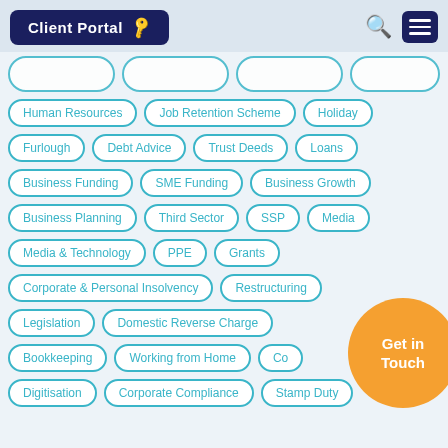Client Portal
Human Resources
Job Retention Scheme
Holiday
Furlough
Debt Advice
Trust Deeds
Loans
Business Funding
SME Funding
Business Growth
Business Planning
Third Sector
SSP
Media
Media & Technology
PPE
Grants
Corporate & Personal Insolvency
Restructuring
Legislation
Domestic Reverse Charge
Bookkeeping
Working from Home
Digitisation
Corporate Compliance
Stamp Duty